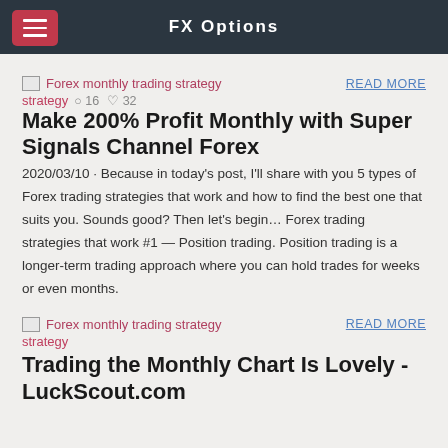FX Options
[Figure (screenshot): Broken image placeholder for Forex monthly trading strategy thumbnail]
READ MORE
strategy  16  32
Make 200% Profit Monthly with Super Signals Channel Forex
2020/03/10 · Because in today's post, I'll share with you 5 types of Forex trading strategies that work and how to find the best one that suits you. Sounds good? Then let's begin… Forex trading strategies that work #1 — Position trading. Position trading is a longer-term trading approach where you can hold trades for weeks or even months.
[Figure (screenshot): Broken image placeholder for Forex monthly trading strategy thumbnail (second article)]
READ MORE
strategy
Trading the Monthly Chart Is Lovely - LuckScout.com